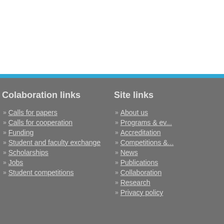Colaboration links
Calls for papers
Calls for cooperation
Funding
Student and faculty exchange
Scholarships
Jobs
Student competitions
Site links
About us
Programs & ev...
Accreditation
Competitions &...
News
Publications
Collaboration
Research
Privacy policy